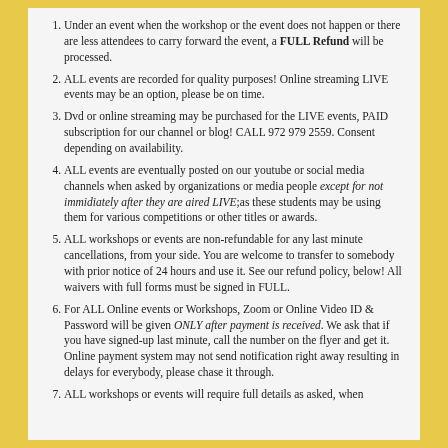Under an event when the workshop or the event does not happen or there are less attendees to carry forward the event, a FULL Refund will be processed.
ALL events are recorded for quality purposes! Online streaming LIVE events may be an option, please be on time.
Dvd or online streaming may be purchased for the LIVE events, PAID subscription for our channel or blog! CALL 972 979 2559. Consent depending on availability.
ALL events are eventually posted on our youtube or social media channels when asked by organizations or media people except for not immidiately after they are aired LIVE;as these students may be using them for various competitions or other titles or awards.
ALL workshops or events are non-refundable for any last minute cancellations, from your side. You are welcome to transfer to somebody with prior notice of 24 hours and use it. See our refund policy, below! All waivers with full forms must be signed in FULL.
For ALL Online events or Workshops, Zoom or Online Video ID & Password will be given ONLY after payment is received. We ask that if you have signed-up last minute, call the number on the flyer and get it. Online payment system may not send notification right away resulting in delays for everybody, please chase it through.
ALL workshops or events will require full details as asked, when